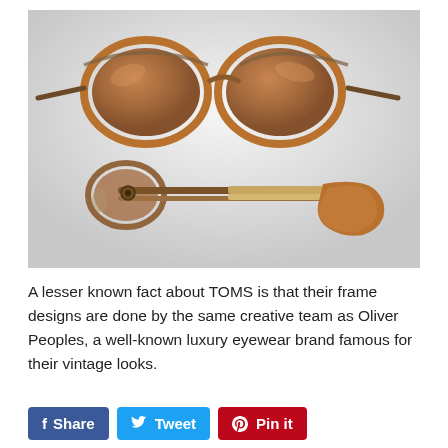[Figure (photo): Product photo of brown/amber TOMS sunglasses shown in two views: front view showing round amber-tinted frames with brown lenses, and side profile view showing the temple arms with gold and brown details, on a light grey/white background.]
A lesser known fact about TOMS is that their frame designs are done by the same creative team as Oliver Peoples, a well-known luxury eyewear brand famous for their vintage looks.